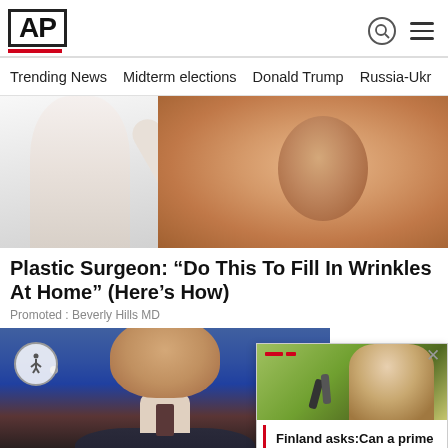AP
Trending News  Midterm elections  Donald Trump  Russia-Ukr
[Figure (photo): Close-up photo of a person in a white outfit with skin texture visible, used as hero image for an advertisement]
Plastic Surgeon: “Do This To Fill In Wrinkles At Home” (Here’s How)
Promoted : Beverly Hills MD
[Figure (photo): Photo of a male politician speaking at a podium with blue background and red lighting]
[Figure (photo): Overlay ad panel showing a woman outdoors with text about Finland asking if a prime minister can party]
Finland asks:Can a prime minister pa...